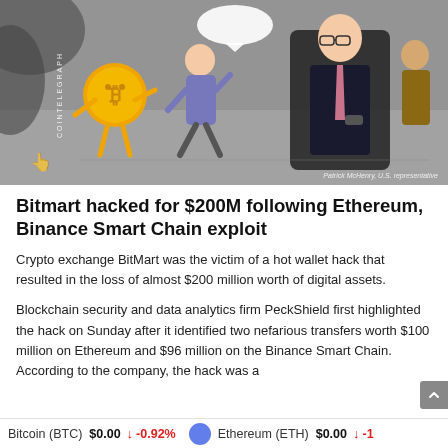[Figure (illustration): Cartoon illustration from Cointelegraph showing a gold Bitcoin coin character and a man running away, with Patrick McHenry U.S. representative figure standing in the foreground. Caption reads: Patrick McHenry, U.S. representative]
Bitmart hacked for $200M following Ethereum, Binance Smart Chain exploit
Crypto exchange BitMart was the victim of a hot wallet hack that resulted in the loss of almost $200 million worth of digital assets.
Blockchain security and data analytics firm PeckShield first highlighted the hack on Sunday after it identified two nefarious transfers worth $100 million on Ethereum and $96 million on the Binance Smart Chain. According to the company, the hack was a
Bitcoin (BTC)  $0.00  ↓ -0.92%    Ethereum (ETH)  $0.00  ↓ -1